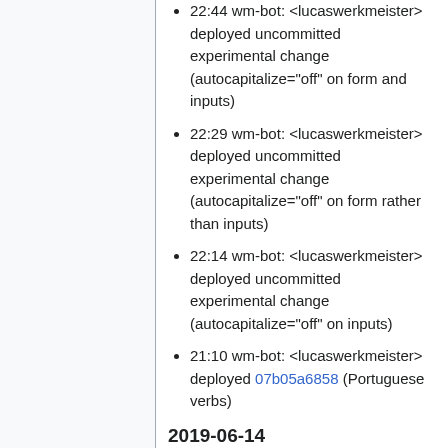22:44 wm-bot: <lucaswerkmeister> deployed uncommitted experimental change (autocapitalize="off" on form and inputs)
22:29 wm-bot: <lucaswerkmeister> deployed uncommitted experimental change (autocapitalize="off" on form rather than inputs)
22:14 wm-bot: <lucaswerkmeister> deployed uncommitted experimental change (autocapitalize="off" on inputs)
21:10 wm-bot: <lucaswerkmeister> deployed 07b05a6858 (Portuguese verbs)
2019-06-14
19:44 wm-bot: <lucaswerkmeister> deployed c48127f696 (update Russian translations)